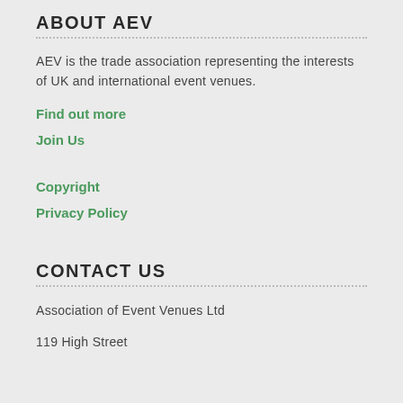ABOUT AEV
AEV is the trade association representing the interests of UK and international event venues.
Find out more
Join Us
Copyright
Privacy Policy
CONTACT US
Association of Event Venues Ltd
119 High Street